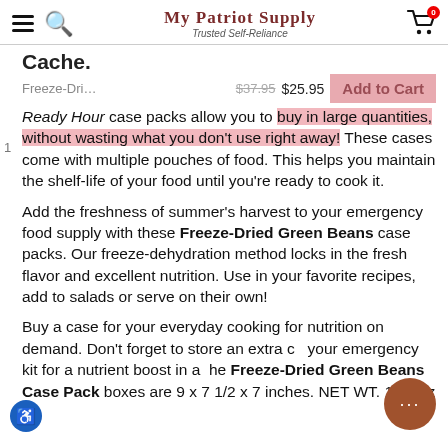My Patriot Supply — Trusted Self-Reliance
Cache.
Freeze-Dri…  $37.95  $25.95  Add to Cart
Ready Hour case packs allow you to buy in large quantities, without wasting what you don't use right away! These cases come with multiple pouches of food. This helps you maintain the shelf-life of your food until you're ready to cook it.
Add the freshness of summer's harvest to your emergency food supply with these Freeze-Dried Green Beans case packs. Our freeze-dehydration method locks in the fresh flavor and excellent nutrition. Use in your favorite recipes, add to salads or serve on their own!
Buy a case for your everyday cooking for nutrition on demand. Don't forget to store an extra c… your emergency kit for a nutrient boost in a… he Freeze-Dried Green Beans Case Pack boxes are 9 x 7 1/2 x 7 inches. NET WT. 1.13 oz